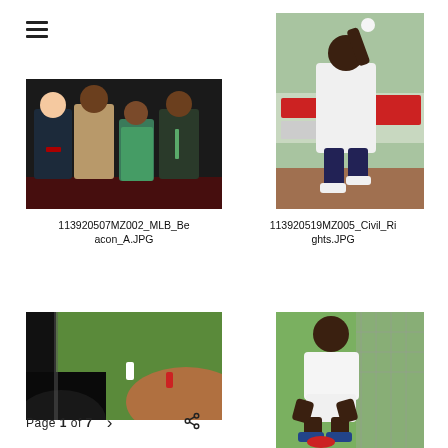[Figure (photo): Hamburger/menu icon (three horizontal lines)]
[Figure (photo): Four people posing together at an event, dark background with sparkle effect. Two men in suits, one woman in floral dress.]
113920507MZ002_MLB_Beacon_A.JPG
[Figure (photo): Athlete throwing a ball on a sports field, MLB advertising banners visible in background. Delta logo visible.]
113920519MZ005_Civil_Rights.JPG
[Figure (photo): Partial view of a baseball game on TV screen with person's head in foreground.]
[Figure (photo): Man in white polo shirt and white shorts crouching/sitting near baseball batting cage netting.]
Page 1 of 7